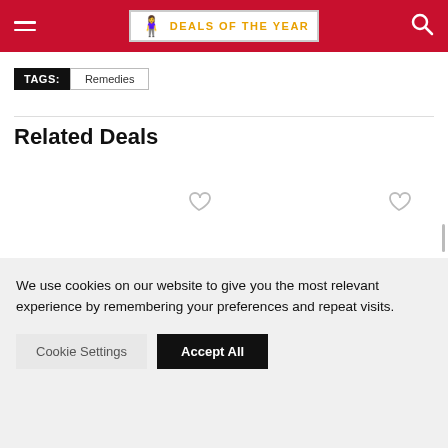DEALS OF THE YEAR
TAGS: Remedies
Related Deals
We use cookies on our website to give you the most relevant experience by remembering your preferences and repeat visits.